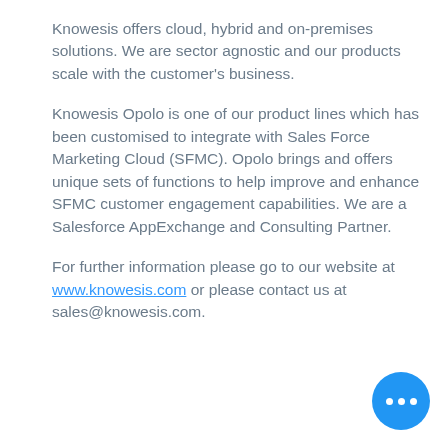Knowesis offers cloud, hybrid and on-premises solutions. We are sector agnostic and our products scale with the customer's business.
Knowesis Opolo is one of our product lines which has been customised to integrate with Sales Force Marketing Cloud (SFMC). Opolo brings and offers unique sets of functions to help improve and enhance SFMC customer engagement capabilities. We are a Salesforce AppExchange and Consulting Partner.
For further information please go to our website at www.knowesis.com or please contact us at sales@knowesis.com.
[Figure (other): Blue circular button with three white dots (ellipsis/more options button)]